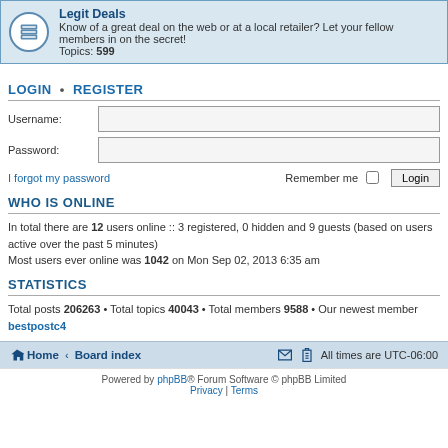Legit Deals
Know of a great deal on the web or at a local retailer? Let your fellow members in on the secret!
Topics: 599
LOGIN • REGISTER
Username:
Password:
I forgot my password
Remember me  Login
WHO IS ONLINE
In total there are 12 users online :: 3 registered, 0 hidden and 9 guests (based on users active over the past 5 minutes)
Most users ever online was 1042 on Mon Sep 02, 2013 6:35 am
STATISTICS
Total posts 206263 • Total topics 40043 • Total members 9588 • Our newest member bestpostc4
Home · Board index   All times are UTC-06:00
Powered by phpBB® Forum Software © phpBB Limited  Privacy | Terms